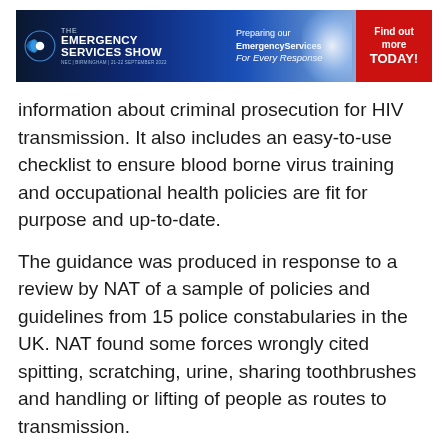[Figure (other): The Emergency Services Show banner advertisement — NEC Birmingham 21-22 September 2022, 'Preparing our Emergency Services For Every Response', red 'Find out more TODAY!' call-to-action button]
information about criminal prosecution for HIV transmission. It also includes an easy-to-use checklist to ensure blood borne virus training and occupational health policies are fit for purpose and up-to-date.
The guidance was produced in response to a review by NAT of a sample of policies and guidelines from 15 police constabularies in the UK. NAT found some forces wrongly cited spitting, scratching, urine, sharing toothbrushes and handling or lifting of people as routes to transmission.